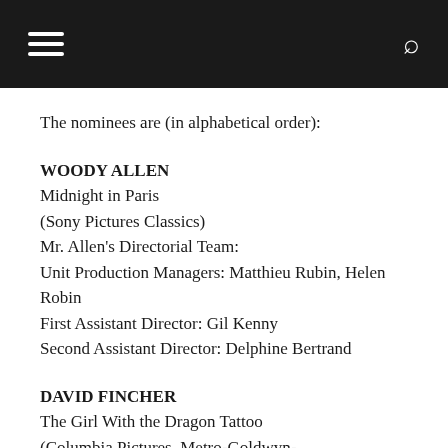≡  🔍
The nominees are (in alphabetical order):
WOODY ALLEN
Midnight in Paris
(Sony Pictures Classics)
Mr. Allen's Directorial Team:
Unit Production Managers: Matthieu Rubin, Helen Robin
First Assistant Director: Gil Kenny
Second Assistant Director: Delphine Bertrand
DAVID FINCHER
The Girl With the Dragon Tattoo
(Columbia Pictures, Metro-Goldwyn-